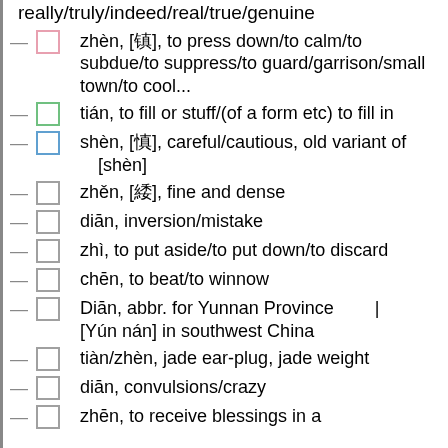really/truly/indeed/real/true/genuine
zhèn, [镇], to press down/to calm/to subdue/to suppress/to guard/garrison/small town/to cool...
tián, to fill or stuff/(of a form etc) to fill in
shèn, [慎], careful/cautious, old variant of 慎[shèn]
zhěn, [缜], fine and dense
diān, inversion/mistake
zhì, to put aside/to put down/to discard
chēn, to beat/to winnow
Diān, abbr. for Yunnan Province 云南|云南[Yún nán] in southwest China
tiàn/zhèn, jade ear-plug, jade weight
diān, convulsions/crazy
zhēn, to receive blessings in a